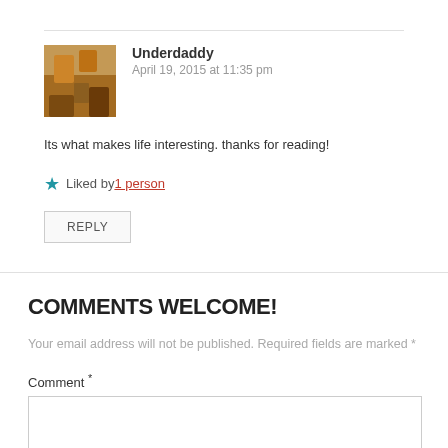[Figure (photo): Avatar image of Underdaddy commenter showing warm autumn tones]
Underdaddy
April 19, 2015 at 11:35 pm
Its what makes life interesting. thanks for reading!
Liked by 1 person
REPLY
COMMENTS WELCOME!
Your email address will not be published. Required fields are marked *
Comment *